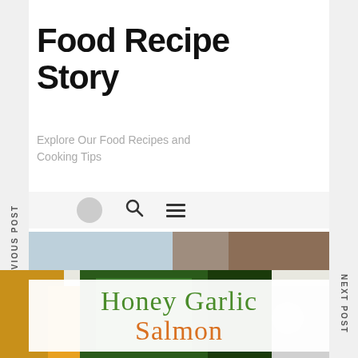Food Recipe Story
Explore Our Food Recipes and Cooking Tips
[Figure (screenshot): Website navigation bar with circle avatar, search icon, and hamburger menu icon]
[Figure (photo): Food photo strip showing wooden chopsticks on light blue background transitioning to warm brown tones]
Honey Garlic Salmon
[Figure (photo): Bottom portion showing colorful food dish with greens, orange vegetables]